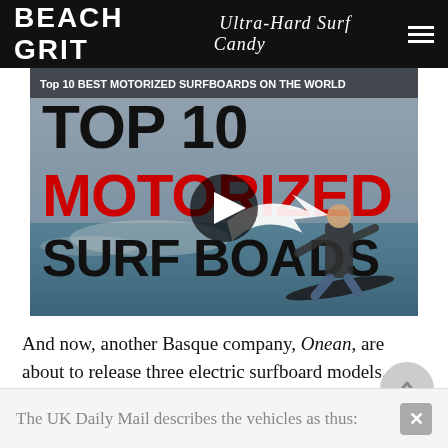BEACH GRIT Ultra-Hard Surf Candy
[Figure (screenshot): Video thumbnail showing 'Top 10 BEST MOTORIZED SURFBOARDS ON THE WORLD' with text overlay TOP 10 MOTORIZED SURF BOARDS in bold black and red, a man riding a motorized surfboard, a white arrow, and a play button in the center.]
And now, another Basque company, Onean, are about to release three electric surfboard models.
The UK Daily Mail describes the vehicles as thus: